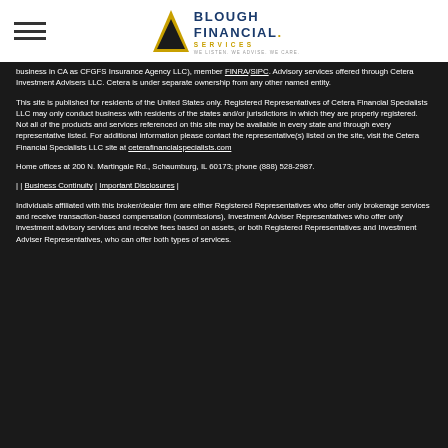[Figure (logo): Blough Financial Services logo with triangle icon, blue and gold text, tagline 'We Listen. We Advise. We Care.']
business in CA as CFGFS Insurance Agency LLC), member FINRA/SIPC. Advisory services offered through Cetera Investment Advisers LLC. Cetera is under separate ownership from any other named entity.
This site is published for residents of the United States only. Registered Representatives of Cetera Financial Specialists LLC may only conduct business with residents of the states and/or jurisdictions in which they are properly registered. Not all of the products and services referenced on this site may be available in every state and through every representative listed. For additional information please contact the representative(s) listed on the site, visit the Cetera Financial Specialists LLC site at ceterafinancialspecialists.com
Home offices at 200 N. Martingale Rd., Schaumburg, IL 60173; phone (888) 528-2987.
| | Business Continuity | Important Disclosures |
Individuals affiliated with this broker/dealer firm are either Registered Representatives who offer only brokerage services and receive transaction-based compensation (commissions), Investment Adviser Representatives who offer only investment advisory services and receive fees based on assets, or both Registered Representatives and Investment Adviser Representatives, who can offer both types of services.